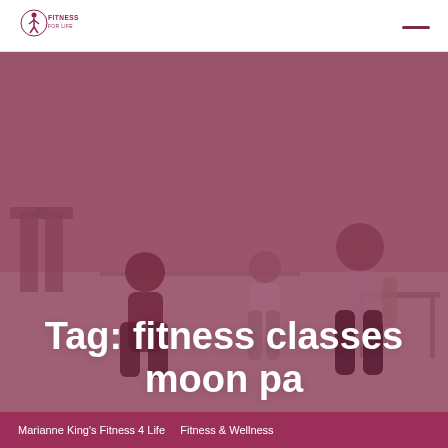[Figure (logo): Fitness For Life logo with stylized figure and text]
[Figure (photo): Three women doing fitness exercises in a room with purple/mauve overlay tint. They appear to be doing squats or balance exercises.]
Tag: fitness classes moon pa
Marianne King's Fitness 4 Life   Fitness & Wellness